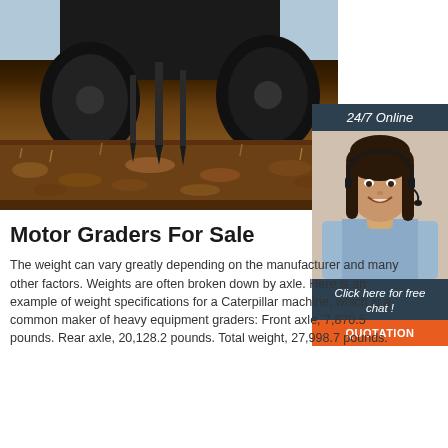[Figure (photo): Close-up photo of agricultural field with tractor wheels and tractor attachments visible above dry crop stubble and brown fallen leaves on ground]
[Figure (photo): 24/7 Online chat widget showing a smiling woman wearing a headset, with 'Click here for free chat!' text and an orange QUOTATION button]
Motor Graders For Sale
The weight can vary greatly depending on the manufacturer and many other factors. Weights are often broken down by axle. Here is an example of weight specifications for a Caterpillar machine, which is a common maker of heavy equipment graders: Front axle, 7,870.5 pounds. Rear axle, 20,128.2 pounds. Total weight, 27,998.7 pounds.